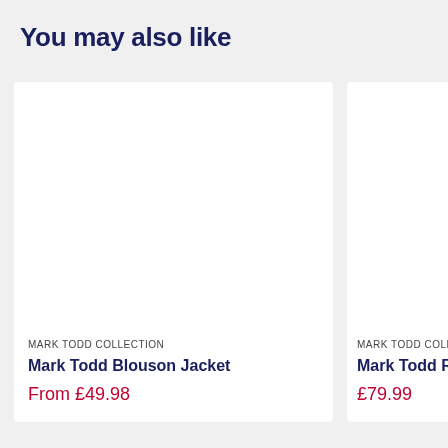You may also like
MARK TODD COLLECTION
Mark Todd Blouson Jacket
From £49.98
MARK TODD COLLECTIO...
Mark Todd Reefl...
£79.99